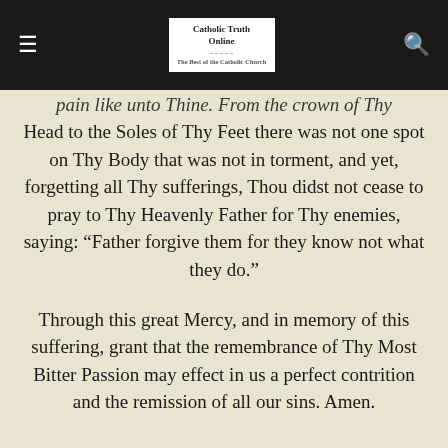Catholic Truth Online
pain like unto Thine. From the crown of Thy Head to the Soles of Thy Feet there was not one spot on Thy Body that was not in torment, and yet, forgetting all Thy sufferings, Thou didst not cease to pray to Thy Heavenly Father for Thy enemies, saying: “Father forgive them for they know not what they do.”
Through this great Mercy, and in memory of this suffering, grant that the remembrance of Thy Most Bitter Passion may effect in us a perfect contrition and the remission of all our sins. Amen.